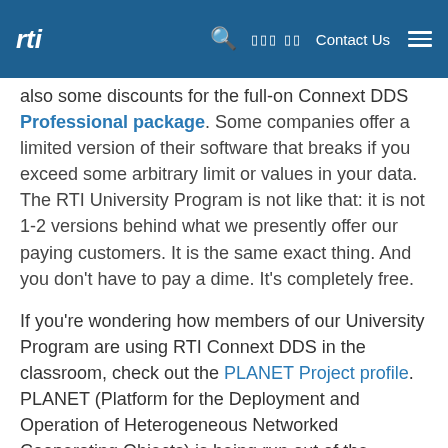rti [logo] [search] [language] Contact Us [menu]
also some discounts for the full-on Connext DDS Professional package. Some companies offer a limited version of their software that breaks if you exceed some arbitrary limit or values in your data. The RTI University Program is not like that: it is not 1-2 versions behind what we presently offer our paying customers. It is the same exact thing. And you don't have to pay a dime. It's completely free.
If you're wondering how members of our University Program are using RTI Connext DDS in the classroom, check out the PLANET Project profile. PLANET (Platform for the Deployment and Operation of Heterogeneous Networked Cooperating Objects) is being run out of the Universität Duisburg-Essen in Germany. They're using Connext DDS as the middleware for the